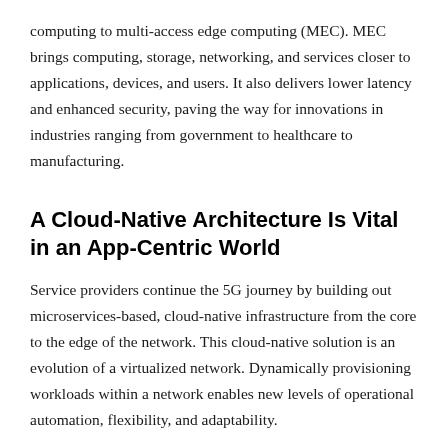computing to multi-access edge computing (MEC). MEC brings computing, storage, networking, and services closer to applications, devices, and users. It also delivers lower latency and enhanced security, paving the way for innovations in industries ranging from government to healthcare to manufacturing.
A Cloud-Native Architecture Is Vital in an App-Centric World
Service providers continue the 5G journey by building out microservices-based, cloud-native infrastructure from the core to the edge of the network. This cloud-native solution is an evolution of a virtualized network. Dynamically provisioning workloads within a network enables new levels of operational automation, flexibility, and adaptability.